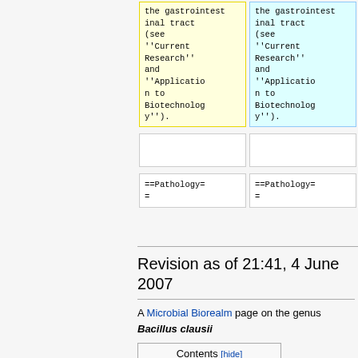| Old revision | New revision |
| --- | --- |
| the gastrointestinal tract (see ''Current Research'' and ''Application to Biotechnology''). | the gastrointestinal tract (see ''Current Research'' and ''Application to Biotechnology''). |
|  |  |
| ==Pathology== | ==Pathology== |
Revision as of 21:41, 4 June 2007
A Microbial Biorealm page on the genus Bacillus clausii
Contents [hide]